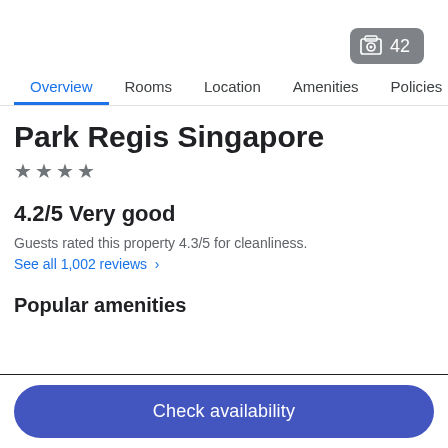[Figure (screenshot): Photo count badge showing image icon and '42']
Overview  Rooms  Location  Amenities  Policies  R
Park Regis Singapore
★ ★ ★ ★
4.2/5 Very good
Guests rated this property 4.3/5 for cleanliness.
See all 1,002 reviews ›
Popular amenities
Check availability